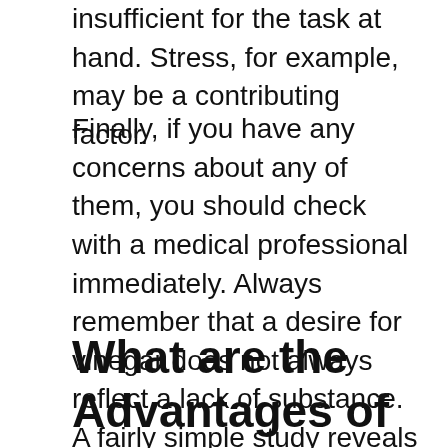insufficient for the task at hand. Stress, for example, may be a contributing factor.
Finally, if you have any concerns about any of them, you should check with a medical professional immediately. Always remember that a desire for vinegar does not always reflect a lack of substance. A fairly simple study reveals that there is a great deal of debate on who is the genuine perpetrator, as you can see. At this point, we have a lot of options available to us.
What are the Advantages of Vinegar?